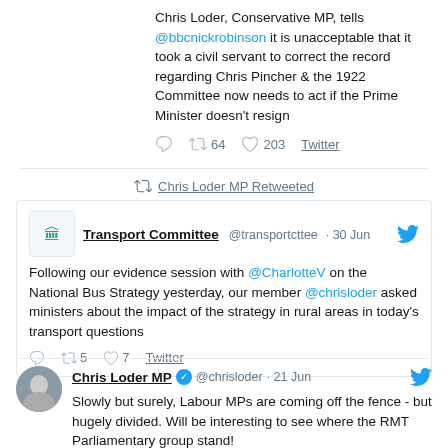Chris Loder, Conservative MP, tells @bbcnickrobinson it is unacceptable that it took a civil servant to correct the record regarding Chris Pincher & the 1922 Committee now needs to act if the Prime Minister doesn't resign
64 retweets, 203 likes, Twitter
Chris Loder MP Retweeted
Transport Committee @transportcttee · 30 Jun — Following our evidence session with @CharlotteV on the National Bus Strategy yesterday, our member @chrisloder asked ministers about the impact of the strategy in rural areas in today's transport questions
5 retweets, 7 likes, Twitter
Chris Loder MP @chrisloder · 21 Jun — Slowly but surely, Labour MPs are coming off the fence - but hugely divided. Will be interesting to see where the RMT Parliamentary group stand!